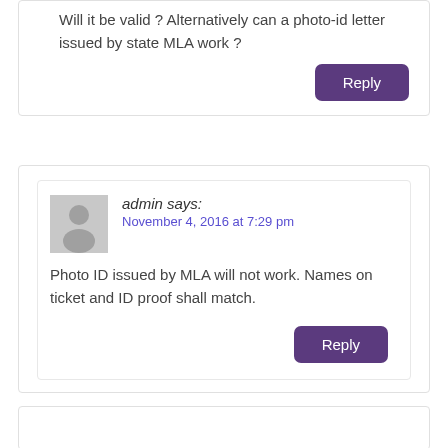Will it be valid ? Alternatively can a photo-id letter issued by state MLA work ?
Reply
admin says:
November 4, 2016 at 7:29 pm
Photo ID issued by MLA will not work. Names on ticket and ID proof shall match.
Reply